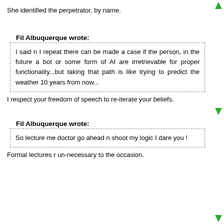She identified the perpetrator, by name.
Fil Albuquerque wrote:
I said n I repeat there can be made a case if the person, in the future a bot or some form of AI are irretrievable for proper functionality...but taking that path is like trying to predict the weather 10 years from now...
I respect your freedom of speech to re-iterate your beliefs.
Fil Albuquerque wrote:
So lecture me doctor go ahead n shoot my logic I dare you !
Formal lectures r un-necessary to the occasion.